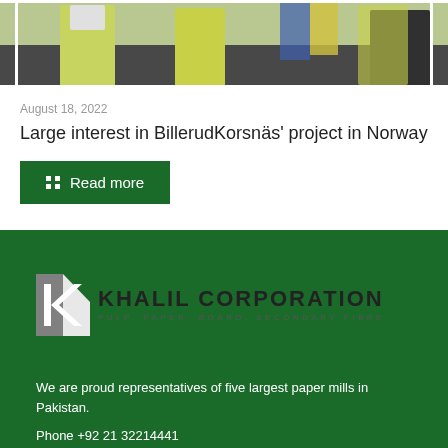[Figure (photo): Partial photo showing people in yellow/lime safety vests standing outdoors, cropped at top]
August 18, 2022
Large interest in BillerudKorsnäs' project in Norway
Read more
[Figure (logo): Khalil Corporation logo — K icon with green and grey, text: KHALIL CORPORATION, PULP. PAPER. BOARD. SECONDARY FIBRE]
We are proud representatives of five largest paper mills in Pakistan.
Phone +92 21 32214441